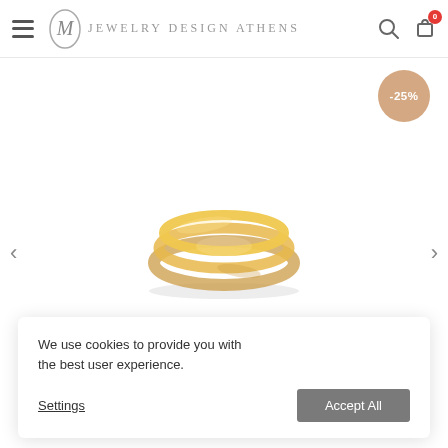M Jewelry Design Athens
[Figure (other): A gold triple band ring with interconnected circular bands, shown on white background with -25% discount badge]
We use cookies to provide you with the best user experience.
Settings  Accept All